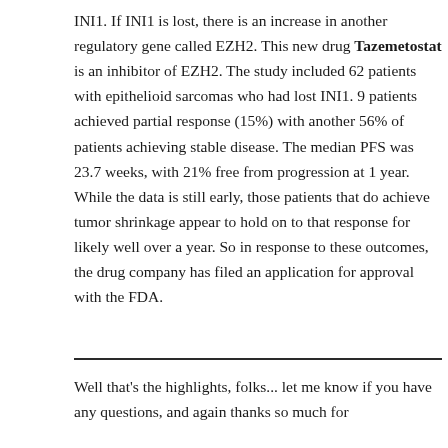INI1. If INI1 is lost, there is an increase in another regulatory gene called EZH2. This new drug Tazemetostat is an inhibitor of EZH2. The study included 62 patients with epithelioid sarcomas who had lost INI1. 9 patients achieved partial response (15%) with another 56% of patients achieving stable disease. The median PFS was 23.7 weeks, with 21% free from progression at 1 year. While the data is still early, those patients that do achieve tumor shrinkage appear to hold on to that response for likely well over a year. So in response to these outcomes, the drug company has filed an application for approval with the FDA.
Well that's the highlights, folks... let me know if you have any questions, and again thanks so much for